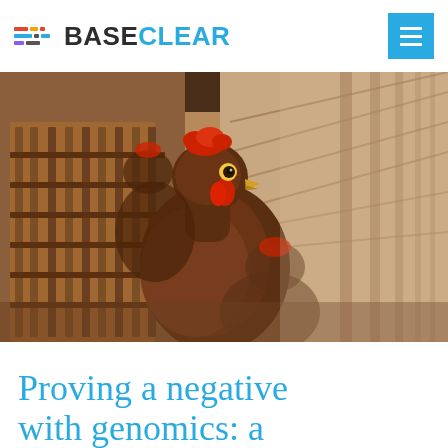BASECLEAR
[Figure (photo): Close-up photograph of brown hens in a chicken farm cage/coop, with wooden slats visible and a long corridor of the farm extending into the background.]
Proving a negative with genomics: a